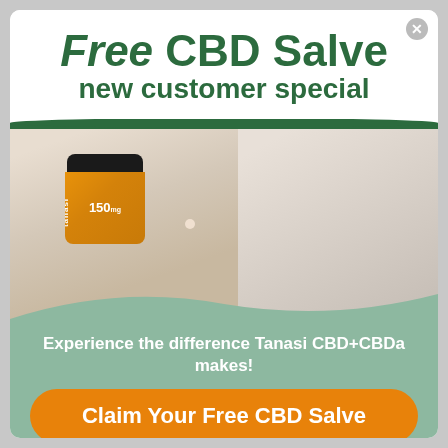Free CBD Salve new customer special
[Figure (photo): Promotional advertisement image showing hands holding a Tanasi 150mg CBD salve jar on the left, and a smiling woman applying the product on the right]
Experience the difference Tanasi CBD+CBDa makes!
Claim Your Free CBD Salve
need to inform their doctors right away. CBD is